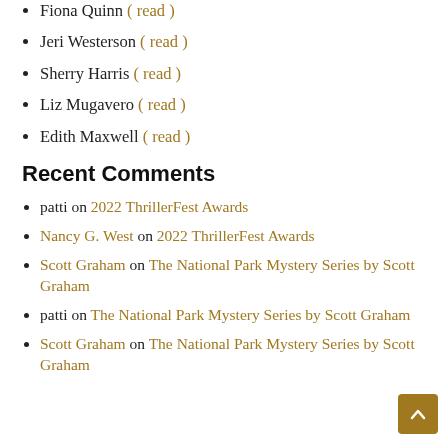Fiona Quinn ( read )
Jeri Westerson ( read )
Sherry Harris ( read )
Liz Mugavero ( read )
Edith Maxwell ( read )
Recent Comments
patti on 2022 ThrillerFest Awards
Nancy G. West on 2022 ThrillerFest Awards
Scott Graham on The National Park Mystery Series by Scott Graham
patti on The National Park Mystery Series by Scott Graham
Scott Graham on The National Park Mystery Series by Scott Graham